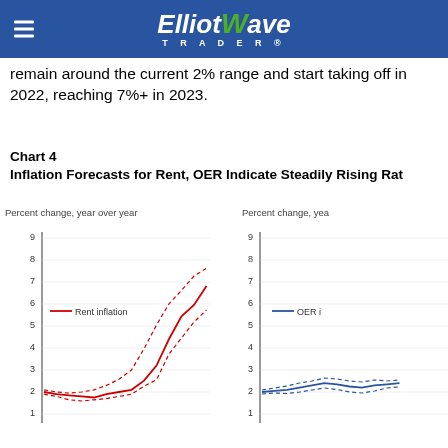Elliott Wave Trader
remain around the current 2% range and start taking off in 2022, reaching 7%+ in 2023.
Chart 4
Inflation Forecasts for Rent, OER Indicate Steadily Rising Rates
[Figure (line-chart): Left panel shows Rent inflation as red solid line rising from ~2% to 7%+ with dashed confidence bands. Right panel shows OER inflation starting at ~2% with dashed bands. Both charts share y-axis 1-9, percent change year over year.]